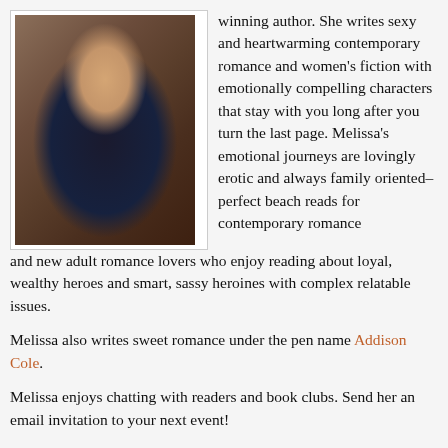[Figure (photo): Author photo: a woman with long curly dark hair, wearing a blue dress and black cardigan, arms crossed, leaning against a brick wall and smiling. She wears a colorful necklace and silver bracelets.]
winning author. She writes sexy and heartwarming contemporary romance and women's fiction with emotionally compelling characters that stay with you long after you turn the last page. Melissa's emotional journeys are lovingly erotic and always family oriented–perfect beach reads for contemporary romance and new adult romance lovers who enjoy reading about loyal, wealthy heroes and smart, sassy heroines with complex relatable issues.
Melissa also writes sweet romance under the pen name Addison Cole.
Melissa enjoys chatting with readers and book clubs. Send her an email invitation to your next event!